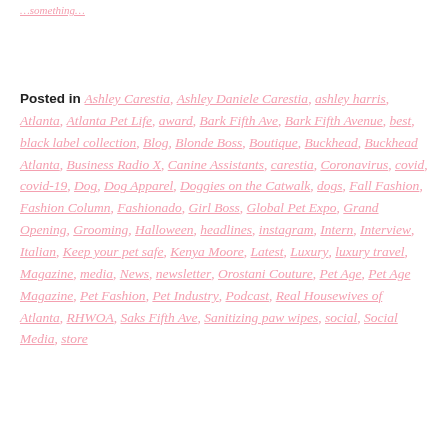(partial link at top)
Posted in Ashley Carestia, Ashley Daniele Carestia, ashley harris, Atlanta, Atlanta Pet Life, award, Bark Fifth Ave, Bark Fifth Avenue, best, black label collection, Blog, Blonde Boss, Boutique, Buckhead, Buckhead Atlanta, Business Radio X, Canine Assistants, carestia, Coronavirus, covid, covid-19, Dog, Dog Apparel, Doggies on the Catwalk, dogs, Fall Fashion, Fashion Column, Fashionado, Girl Boss, Global Pet Expo, Grand Opening, Grooming, Halloween, headlines, instagram, Intern, Interview, Italian, Keep your pet safe, Kenya Moore, Latest, Luxury, luxury travel, Magazine, media, News, newsletter, Orostani Couture, Pet Age, Pet Age Magazine, Pet Fashion, Pet Industry, Podcast, Real Housewives of Atlanta, RHWOA, Saks Fifth Ave, Sanitizing paw wipes, social, Social Media, store